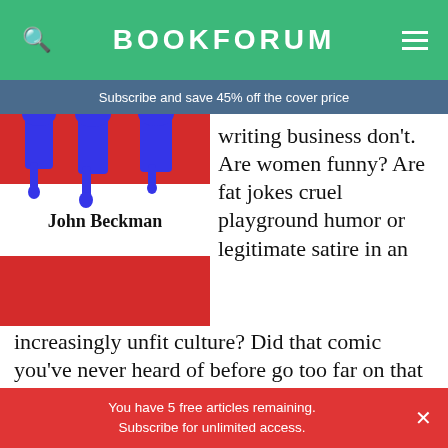BOOKFORUM
Subscribe and save 45% off the cover price
[Figure (illustration): Book cover with red and white stripes, blue graffiti-style paint drips at top, and author name 'John Beckman' in black text on white band]
writing business don't. Are women funny? Are fat jokes cruel playground humor or legitimate satire in an increasingly unfit culture? Did that comic you've never heard of before go too far on that talk show you never watch? Is that black comic who puts on a dress funny, or a demeaning Jim Crow minstrel? Is there such a thing as a man telling a funny rape joke,
You have 5 free articles remaining. Subscribe for unlimited access.